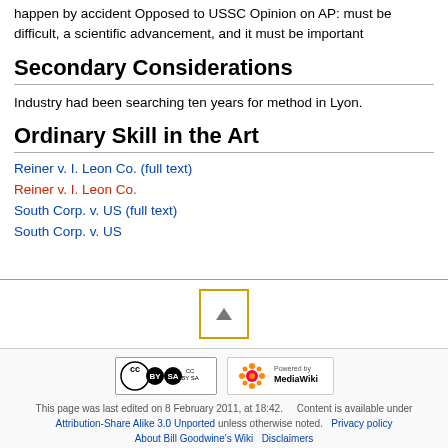happen by accident Opposed to USSC Opinion on AP: must be difficult, a scientific advancement, and it must be important
Secondary Considerations
Industry had been searching ten years for method in Lyon.
Ordinary Skill in the Art
Reiner v. I. Leon Co. (full text)
Reiner v. I. Leon Co.
South Corp. v. US (full text)
South Corp. v. US
This page was last edited on 8 February 2011, at 18:42.    Content is available under Attribution-Share Alike 3.0 Unported unless otherwise noted.   Privacy policy   About Bill Goodwine's Wiki   Disclaimers